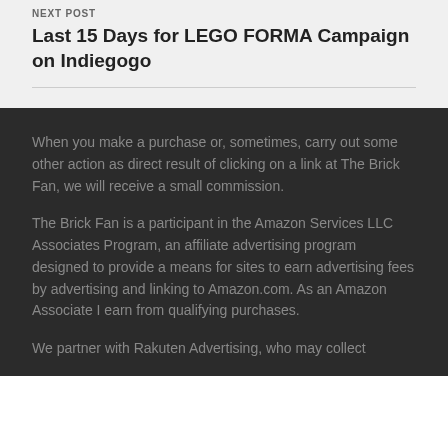NEXT POST
Last 15 Days for LEGO FORMA Campaign on Indiegogo
When you make a purchase or, sometimes, carry out some other action as direct result of clicking on a link at The Brick Fan, we will receive a small commission.
The Brick Fan is a participant in the Amazon Services LLC Associates Program, an affiliate advertising program designed to provide a means for sites to earn advertising fees by advertising and linking to Amazon.com. As an Amazon Associate I earn from qualifying purchases.
We partner with Rakuten Advertising, who may collect